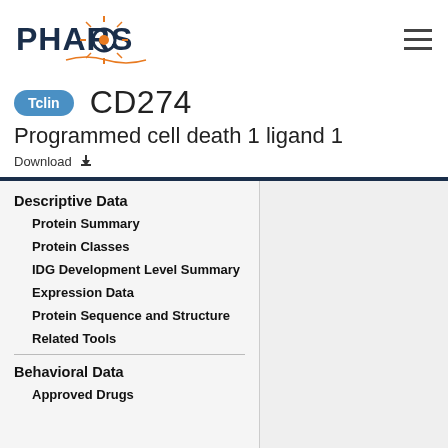[Figure (logo): PHAROS logo with stylized sun/gear icon in orange and navy text]
CD274
Tclin
Programmed cell death 1 ligand 1
Download
Descriptive Data
Protein Summary
Protein Classes
IDG Development Level Summary
Expression Data
Protein Sequence and Structure
Related Tools
Behavioral Data
Approved Drugs